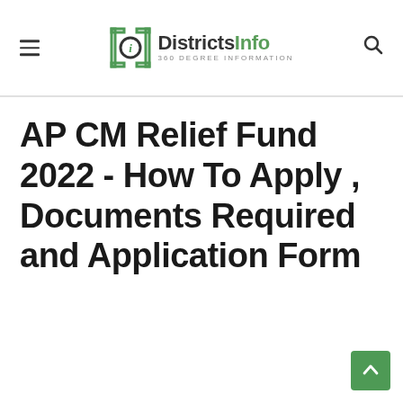DistrictsInfo 360 DEGREE INFORMATION
AP CM Relief Fund 2022 - How To Apply , Documents Required and Application Form